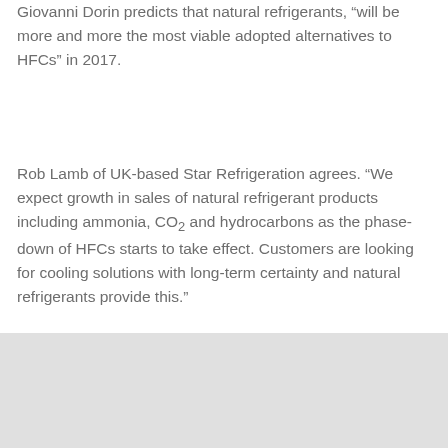Giovanni Dorin predicts that natural refrigerants, “will be more and more the most viable adopted alternatives to HFCs” in 2017.
Rob Lamb of UK-based Star Refrigeration agrees. “We expect growth in sales of natural refrigerant products including ammonia, CO2 and hydrocarbons as the phase-down of HFCs starts to take effect. Customers are looking for cooling solutions with long-term certainty and natural refrigerants provide this.”
John Scherer, chief technology officer for the NXTCOLD CO2/ammonia cascade system, thinks, “end users are becoming aware of ‘sweet spots’ for natural refrigerant system types in most applications”.
Source